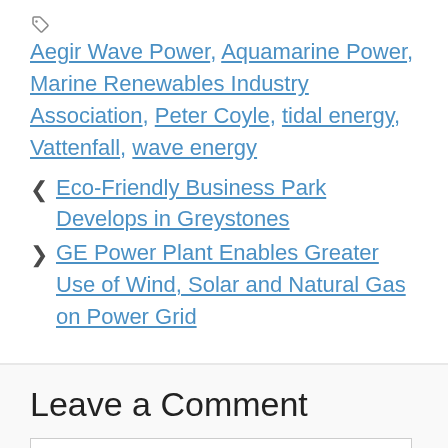Tags: Aegir Wave Power, Aquamarine Power, Marine Renewables Industry Association, Peter Coyle, tidal energy, Vattenfall, wave energy
< Eco-Friendly Business Park Develops in Greystones
> GE Power Plant Enables Greater Use of Wind, Solar and Natural Gas on Power Grid
Leave a Comment